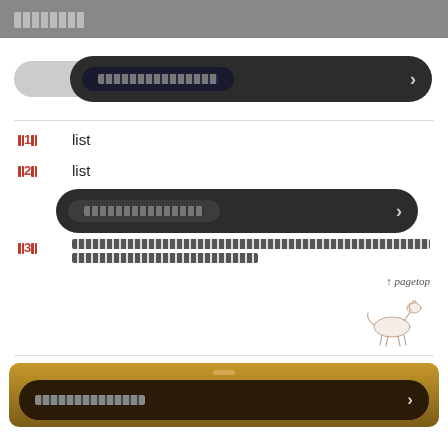□□□□
[Figure (screenshot): Dark rounded navigation button with text pill and arrow, overlapping a light grey pill stub on the left]
□1□  list
□2□  list
[Figure (screenshot): Second dark rounded navigation button overlapping list item 3]
□3□  [redacted text block] □□□□□
↑ pagetop
[Figure (illustration): Small illustrated animal (horse or deer) sketch]
[Figure (screenshot): Gold/bronze background footer bar with dark rounded button and arrow]